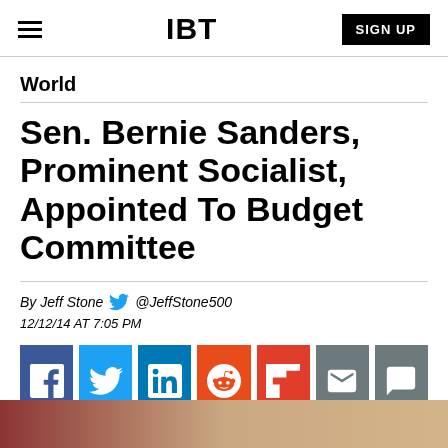IBT | SIGN UP
World
Sen. Bernie Sanders, Prominent Socialist, Appointed To Budget Committee
By Jeff Stone @JeffStone500
12/12/14 AT 7:05 PM
[Figure (other): Social sharing buttons: Facebook, Twitter, LinkedIn, Reddit, Flipboard, Email, Comment]
[Figure (photo): Partial photo at bottom of page, blurred/cropped image]